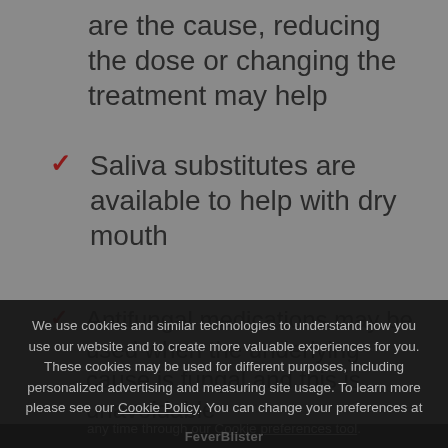are the cause, reducing the dose or changing the treatment may help
Saliva substitutes are available to help with dry mouth
Antifungal medications may be used when the underlying cause is fungal and this is unavoidable
We use cookies and similar technologies to understand how you use our website and to create more valuable experiences for you. These cookies may be used for different purposes, including personalized advertising and measuring site usage. To learn more please see our Cookie Policy. You can change your preferences at any time through our Cookie preferences tool.
Accept
FeverBlister